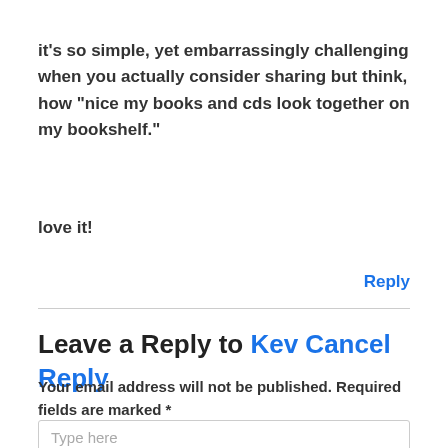it's so simple, yet embarrassingly challenging when you actually consider sharing but think, how “nice my books and cds look together on my bookshelf.”
love it!
Reply
Leave a Reply to Kev Cancel Reply
Your email address will not be published. Required fields are marked *
Type here